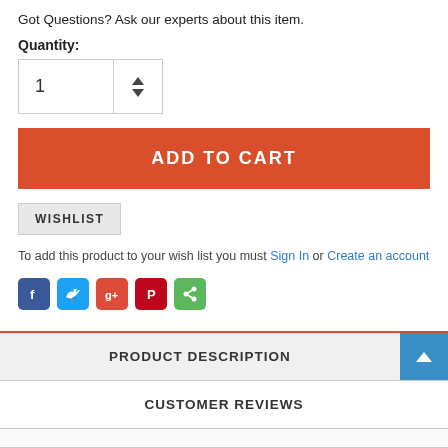Got Questions? Ask our experts about this item.
Quantity:
[Figure (screenshot): Quantity input box showing value 1 with up/down spinner arrows]
[Figure (screenshot): ADD TO CART button in orange-red]
[Figure (screenshot): WISHLIST button in light gray]
To add this product to your wish list you must Sign In or Create an account
[Figure (screenshot): Social media share icons: Facebook, Twitter, Google+, Pinterest, Share]
PRODUCT DESCRIPTION
CUSTOMER REVIEWS